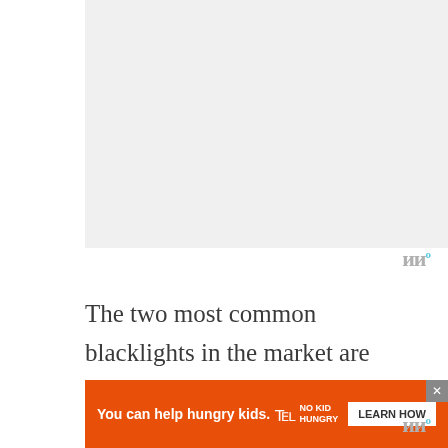[Figure (other): Gray placeholder image area at the top of the page]
The two most common blacklights in the market are LED blacklights and fluorescent black lights. In the past, fluorescent lights were the first and best option to have better results but, nowadays, with all the technological advances, there are new UV LED lights that provide amazing results. Therefore, a lot of people are preferring to go with this new UV
[Figure (other): Advertisement banner: orange background with text 'You can help hungry kids.' No Kid Hungry logo and 'LEARN HOW' button. Close X button in top right corner.]